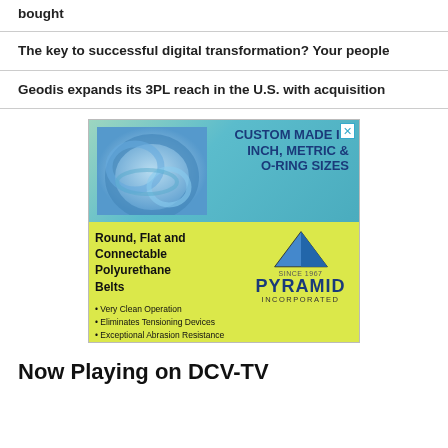bought
The key to successful digital transformation? Your people
Geodis expands its 3PL reach in the U.S. with acquisition
[Figure (infographic): Advertisement for Pyramid Incorporated showing custom made polyurethane belts in inch, metric and O-ring sizes with blue rings image and bullet points about Very Clean Operation, Eliminates Tensioning Devices, Exceptional Abrasion Resistance]
Now Playing on DCV-TV